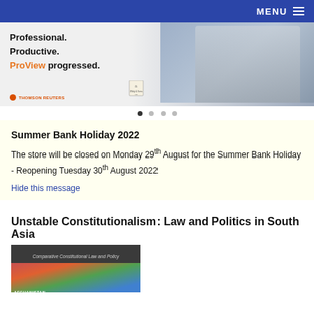MENU
[Figure (photo): Banner advertisement for Thomson Reuters ProView with text: Professional. Productive. ProView progressed. Shows a woman in glasses reading a tablet device.]
Summer Bank Holiday 2022
The store will be closed on Monday 29th August for the Summer Bank Holiday - Reopening Tuesday 30th August 2022
Hide this message
Unstable Constitutionalism: Law and Politics in South Asia
[Figure (photo): Book cover for 'Unstable Constitutionalism: Law and Politics in South Asia' from the Comparative Constitutional Law and Policy series, showing a map of South Asia including Afghanistan.]